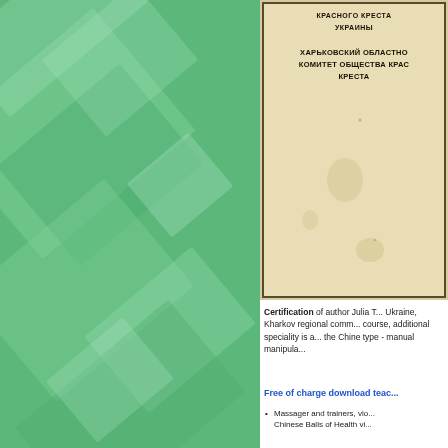[Figure (photo): Green decorative background panel with overlapping translucent geometric diamond/rectangle shapes in various shades of green]
[Figure (photo): Scanned vintage Soviet-era certificate document in Russian/Ukrainian with text: КРАСНОГО КРЕСТА УКРАИНЫ, ХАРЬКОВСКИЙ ОБЛАСТНОЙ КОМИТЕТ ОБЩЕСТВА КРАСНОГО КРЕСТА. Aged yellowish paper with dark border.]
Certification of author Julia T... Ukraine, Kharkov regional comm... course, additional speciality is a... the Chine type - manual manipula...
Free of charge download teac...
Massager and trainers, vio... Chinese Balls of Health vi...